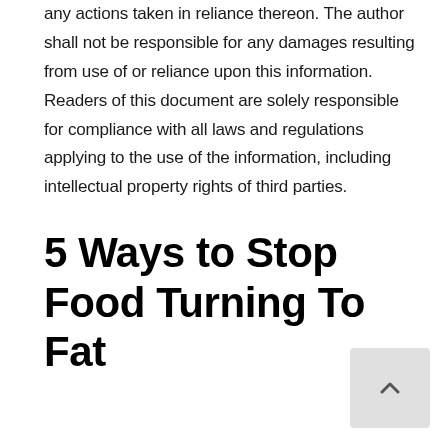any actions taken in reliance thereon. The author shall not be responsible for any damages resulting from use of or reliance upon this information. Readers of this document are solely responsible for compliance with all laws and regulations applying to the use of the information, including intellectual property rights of third parties.
5 Ways to Stop Food Turning To Fat